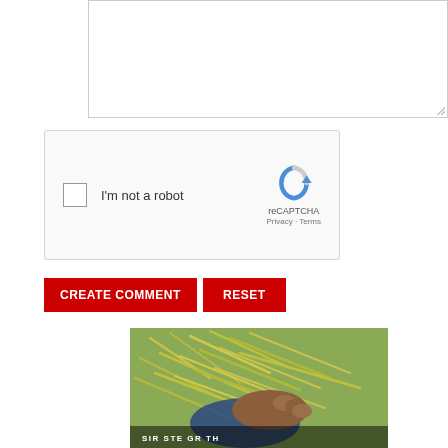[Figure (screenshot): Text area input box with resize handle at bottom right]
[Figure (screenshot): reCAPTCHA widget with checkbox labeled I'm not a robot and the reCAPTCHA logo with Privacy and Terms links]
CREATE COMMENT
RESET
[Figure (photo): A person holding a handful of green hay/grass material, with the text overlay at the bottom]